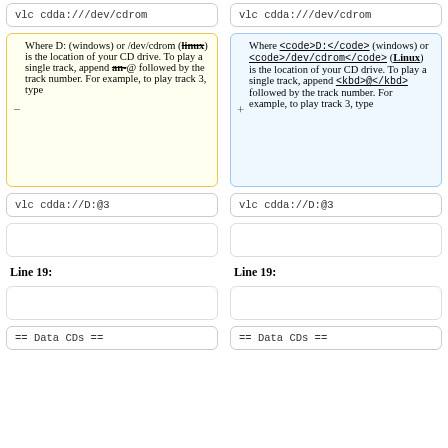vlc cdda:///dev/cdrom (left code box)
vlc cdda:///dev/cdrom (right code box)
Where D: (windows) or /dev/cdrom (linux) is the location of your CD drive. To play a single track, append an-@ followed by the track number. For example, to play track 3, type
Where <code>D:</code> (windows) or <code>/dev/cdrom</code> (Linux) is the location of your CD drive. To play a single track, append <kbd>@</kbd> followed by the track number. For example, to play track 3, type
vlc cdda://D:@3
vlc cdda://D:@3
Line 19:
Line 19:
== Data CDs ==
== Data CDs ==